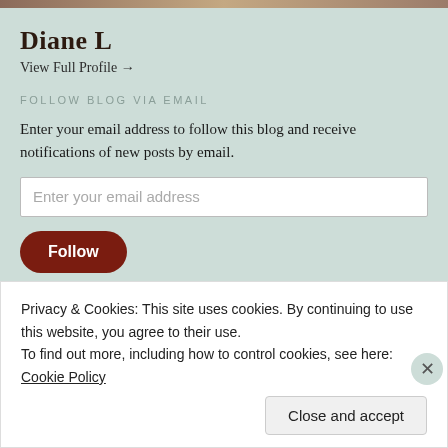[Figure (photo): Top banner image strip, partially visible]
Diane L
View Full Profile →
FOLLOW BLOG VIA EMAIL
Enter your email address to follow this blog and receive notifications of new posts by email.
Enter your email address
Follow
CATEGORIES
Privacy & Cookies: This site uses cookies. By continuing to use this website, you agree to their use.
To find out more, including how to control cookies, see here: Cookie Policy
Close and accept